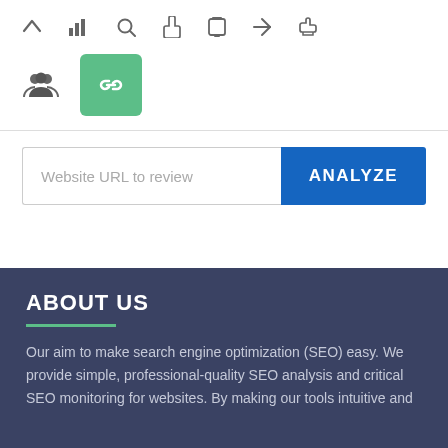[Figure (screenshot): Navigation bar with icons: chevron up, bar chart, search, hand/cursor, mobile phone, send/location, thumbs up]
[Figure (screenshot): Second navigation row with group/people icon and a green box with link/chain icon (active state)]
[Figure (screenshot): Search input field with placeholder 'Website URL to review' and blue ANALYZE button]
ABOUT US
Our aim to make search engine optimization (SEO) easy. We provide simple, professional-quality SEO analysis and critical SEO monitoring for websites. By making our tools intuitive and